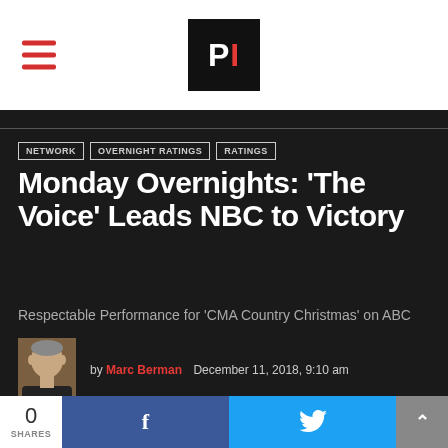PI (Programming Insider logo)
NETWORK
OVERNIGHT RATINGS
RATINGS
Monday Overnights: ‘The Voice’ Leads NBC to Victory
Respectable Performance for 'CMA Country Christmas' on ABC
by Marc Berman   December 11, 2018, 9:10 am
0 SHARES
Facebook share button
Twitter share button